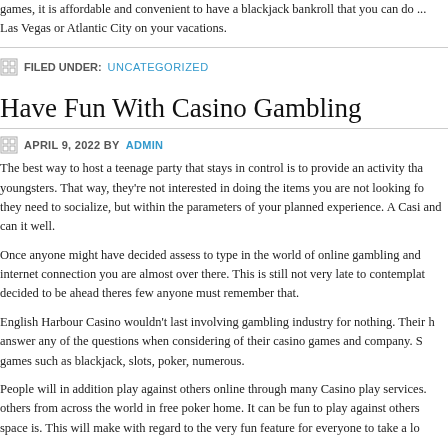games, it is affordable and convenient to have a blackjack bankroll that you can do ... Las Vegas or Atlantic City on your vacations.
FILED UNDER: UNCATEGORIZED
Have Fun With Casino Gambling
APRIL 9, 2022 BY ADMIN
The best way to host a teenage party that stays in control is to provide an activity tha... youngsters. That way, they're not interested in doing the items you are not looking fo... they need to socialize, but within the parameters of your planned experience. A Casi... and can it well.
Once anyone might have decided assess to type in the world of online gambling and... internet connection you are almost over there. This is still not very late to contemplat... decided to be ahead theres few anyone must remember that.
English Harbour Casino wouldn't last involving gambling industry for nothing. Their h... answer any of the questions when considering of their casino games and company. S... games such as blackjack, slots, poker, numerous.
People will in addition play against others online through many Casino play services.... others from across the world in free poker home. It can be fun to play against others... space is. This will make with regard to the very fun feature for everyone to take a lo...